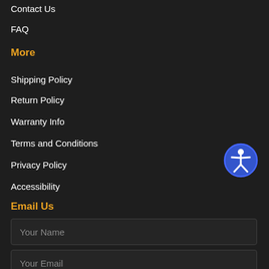Contact Us
FAQ
More
Shipping Policy
Return Policy
Warranty Info
Terms and Conditions
Privacy Policy
Accessibility
[Figure (illustration): Accessibility icon: a blue circle with a white human figure in the center, arms and legs spread, representing accessibility features]
Email Us
Your Name (form input placeholder)
Your Email (form input placeholder)
Your Query (form input placeholder)